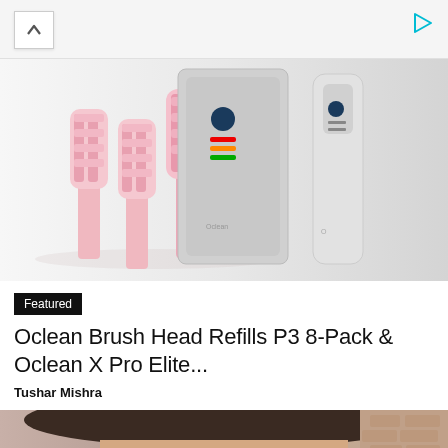[Figure (other): Ad bar with play/ad icon in top right corner and up arrow button on left]
[Figure (photo): Product image showing pink Oclean brush head refills on left and silver Oclean X Pro Elite electric toothbrush devices on right, on a white/grey gradient background]
Featured
Oclean Brush Head Refills P3 8-Pack & Oclean X Pro Elite...
Tushar Mishra
[Figure (photo): Bottom strip showing partial photo of a person's face/hair with brick wall background]